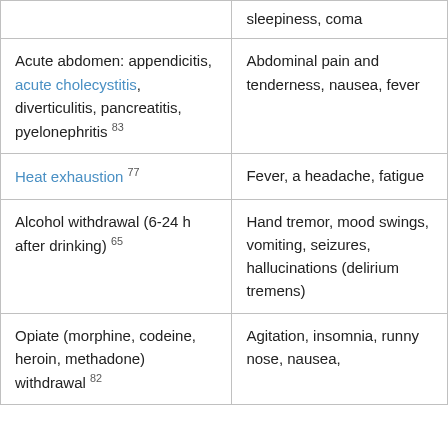|  | sleepiness, coma |
| Acute abdomen: appendicitis, acute cholecystitis, diverticulitis, pancreatitis, pyelonephritis 83 | Abdominal pain and tenderness, nausea, fever |
| Heat exhaustion 77 | Fever, a headache, fatigue |
| Alcohol withdrawal (6-24 h after drinking) 65 | Hand tremor, mood swings, vomiting, seizures, hallucinations (delirium tremens) |
| Opiate (morphine, codeine, heroin, methadone) withdrawal 82 | Agitation, insomnia, runny nose, nausea, |